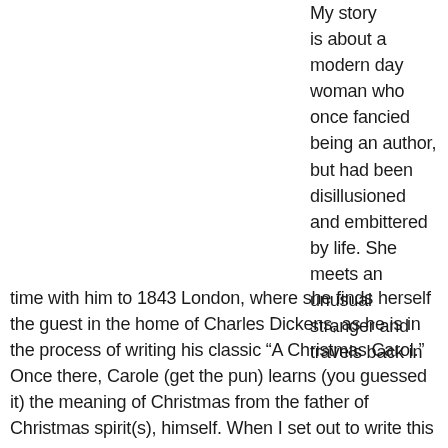My story is about a modern day woman who once fancied being an author, but had been disillusioned and embittered by life. She meets an unusual stranger and travels back in time with him to 1843 London, where she finds herself the guest in the home of Charles Dickens, as he is in the process of writing his classic “A Christmas Carol.” Once there, Carole (get the pun) learns (you guessed it) the meaning of Christmas from the father of Christmas spirit(s), himself. When I set out to write this Christmas story, I actually gave myself a year. Does it really take me a year to write a novella? Nope. Yet, here I am, on November 28th,